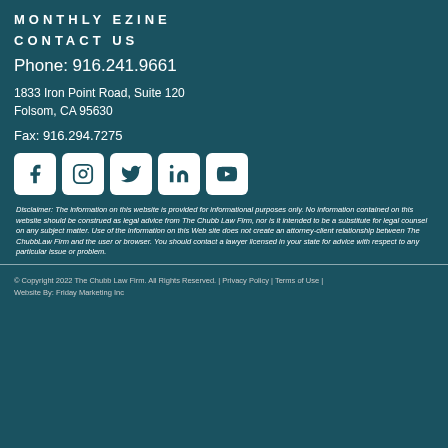MONTHLY EZINE
CONTACT US
Phone: 916.241.9661
1833 Iron Point Road, Suite 120
Folsom, CA 95630
Fax: 916.294.7275
[Figure (infographic): Row of 5 social media icons: Facebook, Instagram, Twitter, LinkedIn, YouTube]
Disclaimer: The information on this website is provided for informational purposes only. No information contained on this website should be construed as legal advice from The Chubb Law Firm, nor is it intended to be a substitute for legal counsel on any subject matter. Use of the information on this Web site does not create an attorney-client relationship between The ChubbLaw Firm and the user or browser. You should contact a lawyer licensed in your state for advice with respect to any particular issue or problem.
© Copyright 2022 The Chubb Law Firm. All Rights Reserved. | Privacy Policy | Terms of Use | Website By: Friday Marketing Inc